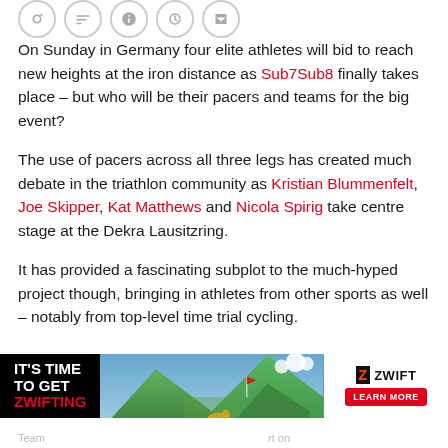[Figure (other): Row of social media icon circles (partially visible at top of page)]
On Sunday in Germany four elite athletes will bid to reach new heights at the iron distance as Sub7Sub8 finally takes place – but who will be their pacers and teams for the big event?
The use of pacers across all three legs has created much debate in the triathlon community as Kristian Blummenfelt, Joe Skipper, Kat Matthews and Nicola Spirig take centre stage at the Dekra Lausitzring.
It has provided a fascinating subplot to the much-hyped project though, bringing in athletes from other sports as well – notably from top-level time trial cycling.
[Figure (infographic): Advertisement banner: IT'S TIME TO GET ZWIFTING with a landscape cycling photo and the Zwift logo with LEARN MORE button]
Team  ...  rt on